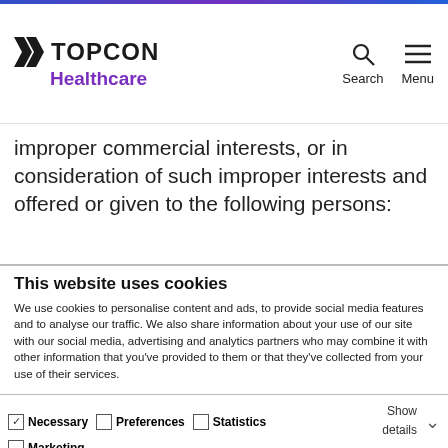Topcon Healthcare — website header with logo, Search and Menu
improper commercial interests, or in consideration of such improper interests and offered or given to the following persons:
This website uses cookies
We use cookies to personalise content and ads, to provide social media features and to analyse our traffic. We also share information about your use of our site with our social media, advertising and analytics partners who may combine it with other information that you've provided to them or that they've collected from your use of their services.
Allow all cookies | Allow selection | Use necessary cookies only
Necessary  Preferences  Statistics  Marketing  Show details